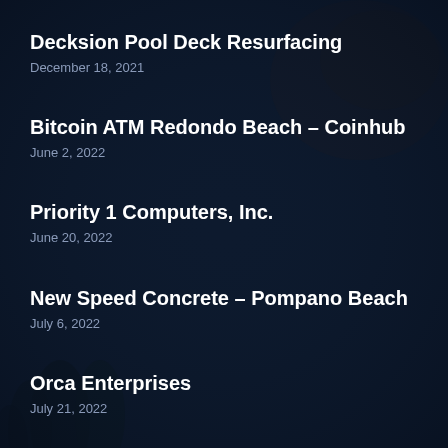Decksion Pool Deck Resurfacing
December 18, 2021
Bitcoin ATM Redondo Beach – Coinhub
June 2, 2022
Priority 1 Computers, Inc.
June 20, 2022
New Speed Concrete – Pompano Beach
July 6, 2022
Orca Enterprises
July 21, 2022